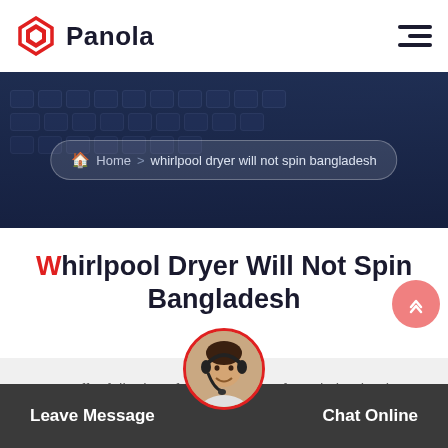Panola
Home > whirlpool dryer will not spin bangladesh
Whirlpool Dryer Will Not Spin Bangladesh
We offer full price of dryer machine for sale in Algeria, Ghana, Kenya, Egypt, South Africa, Indonesia, Brazil, Russia, Nigeria and more. If you want to know the price o..
Leave Message  Chat Online